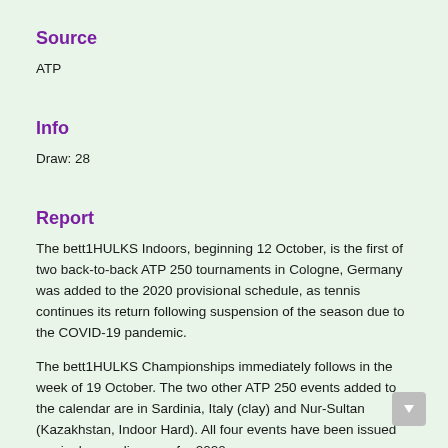Source
ATP
Info
Draw: 28
Report
The bett1HULKS Indoors, beginning 12 October, is the first of two back-to-back ATP 250 tournaments in Cologne, Germany was added to the 2020 provisional schedule, as tennis continues its return following suspension of the season due to the COVID-19 pandemic.
The bett1HULKS Championships immediately follows in the week of 19 October. The two other ATP 250 events added to the calendar are in Sardinia, Italy (clay) and Nur-Sultan (Kazakhstan, Indoor Hard). All four events have been issued as single-year licenses for 2020.